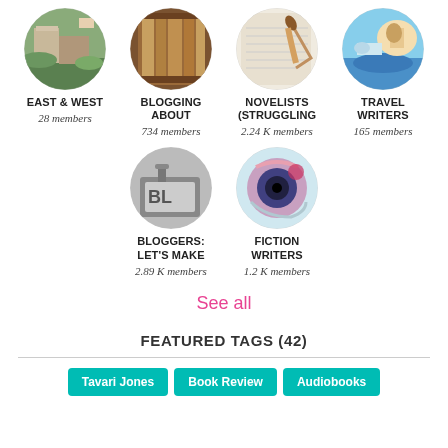[Figure (photo): Circular photo of East & West group - landscape/cityscape]
EAST & WEST
28 members
[Figure (photo): Circular photo of Blogging About group - bookshelf]
BLOGGING ABOUT
734 members
[Figure (photo): Circular photo of Novelists (Struggling group - notepad and pen]
NOVELISTS (STRUGGLING
2.24 K members
[Figure (photo): Circular photo of Travel Writers group - person with sea background]
TRAVEL WRITERS
165 members
[Figure (photo): Circular photo of Bloggers: Let's Make group - typewriter]
BLOGGERS: LET'S MAKE
2.89 K members
[Figure (photo): Circular photo of Fiction Writers group - colorful camera lens]
FICTION WRITERS
1.2 K members
See all
FEATURED TAGS (42)
Tavari Jones
Book Review
Audiobooks